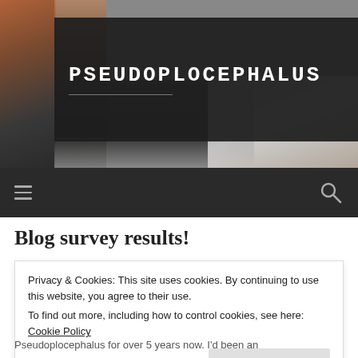[Figure (photo): Website header photo showing a dog with decorative elements, partially obscured by a dark title banner]
PSEUDOPLOCEPHALUS
Navigation bar with hamburger menu and search icon
Blog survey results!
Privacy & Cookies: This site uses cookies. By continuing to use this website, you agree to their use.
To find out more, including how to control cookies, see here: Cookie Policy
Close and accept
Pseudoplocephalus for over 5 years now. I'd been an